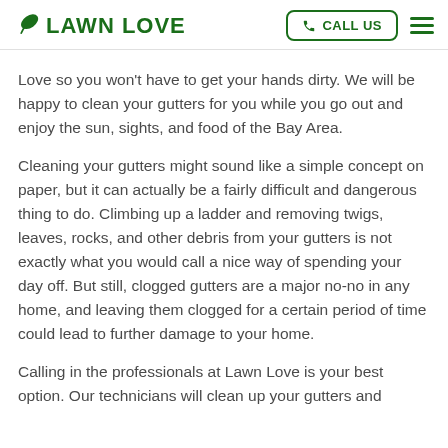LAWN LOVE | CALL US
Love so you won't have to get your hands dirty. We will be happy to clean your gutters for you while you go out and enjoy the sun, sights, and food of the Bay Area.
Cleaning your gutters might sound like a simple concept on paper, but it can actually be a fairly difficult and dangerous thing to do. Climbing up a ladder and removing twigs, leaves, rocks, and other debris from your gutters is not exactly what you would call a nice way of spending your day off. But still, clogged gutters are a major no-no in any home, and leaving them clogged for a certain period of time could lead to further damage to your home.
Calling in the professionals at Lawn Love is your best option. Our technicians will clean up your gutters and